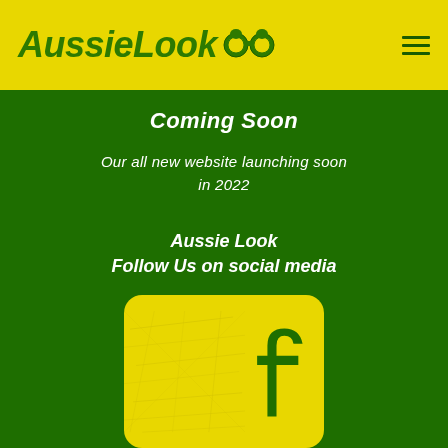AussieLook
Coming Soon
Our all new website launching soon in 2022
Aussie Look
Follow Us on social media
[Figure (logo): Facebook logo icon on a distressed yellow background with green 'f' letterform]